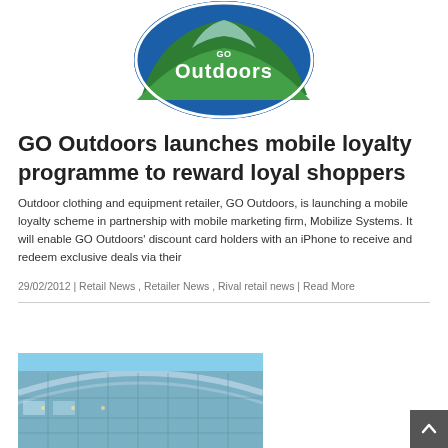[Figure (logo): GO Outdoors circular logo with mountains and blue/green colors]
GO Outdoors launches mobile loyalty programme to reward loyal shoppers
Outdoor clothing and equipment retailer, GO Outdoors, is launching a mobile loyalty scheme in partnership with mobile marketing firm, Mobilize Systems. It will enable GO Outdoors' discount card holders with an iPhone to receive and redeem exclusive deals via their
29/02/2012 | Retail News , Retailer News , Rival retail news | Read More
[Figure (photo): Exterior of a modern building with glass facade and curved roof structure against a blue sky]